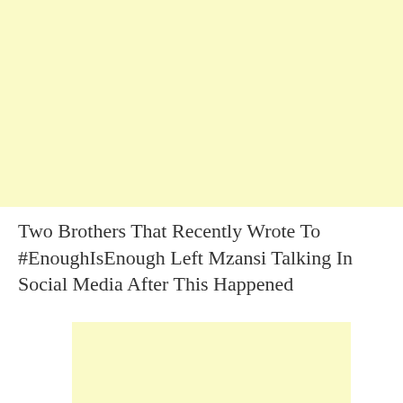[Figure (other): Yellow/cream colored advertisement banner block at top of page]
Two Brothers That Recently Wrote To #EnoughIsEnough Left Mzansi Talking In Social Media After This Happened
[Figure (other): Yellow/cream colored advertisement banner block in lower portion of page]